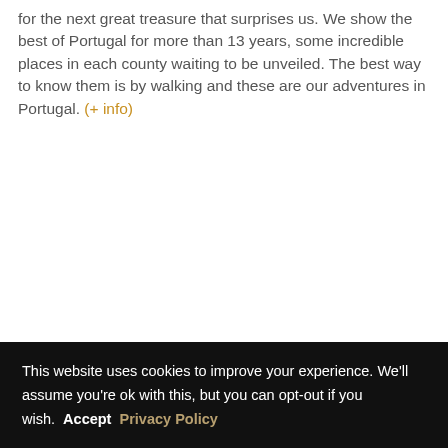for the next great treasure that surprises us. We show the best of Portugal for more than 13 years, some incredible places in each county waiting to be unveiled. The best way to know them is by walking and these are our adventures in Portugal. (+ info)
This website uses cookies to improve your experience. We'll assume you're ok with this, but you can opt-out if you wish. Accept Privacy Policy